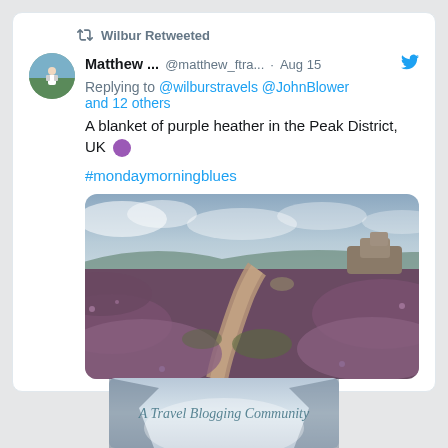Wilbur Retweeted
Matthew ... @matthew_ftra... · Aug 15
Replying to @wilburstravels @JohnBlower and 12 others
A blanket of purple heather in the Peak District, UK 🟣
#mondaymorningblues
[Figure (photo): Landscape photo of purple heather moorland with a winding dirt path, rocky tor in background, cloudy sky, Peak District UK]
[Figure (photo): Banner image with misty mountain gorge and text 'A Travel Blogging Community' in cursive script]